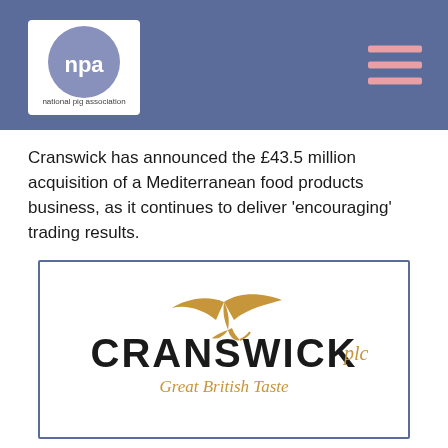[Figure (logo): National Pig Association (NPA) logo — white circle with 'npa' text in blue-purple on a blue-purple banner background, with 'national pig association' text below]
Cranswick has announced the £43.5 million acquisition of a Mediterranean food products business, as it continues to deliver 'encouraging' trading results.
[Figure (logo): Cranswick plc logo — golden heron/crane bird above bold dark text 'CRANSWICK plc' (plc in gold italic) and tagline 'Great British Taste' in gold italic, inside a blue-bordered box]
The Hull-based pork processor revealed that a